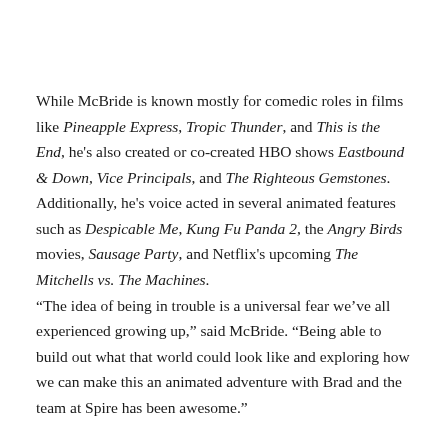While McBride is known mostly for comedic roles in films like Pineapple Express, Tropic Thunder, and This is the End, he's also created or co-created HBO shows Eastbound & Down, Vice Principals, and The Righteous Gemstones. Additionally, he's voice acted in several animated features such as Despicable Me, Kung Fu Panda 2, the Angry Birds movies, Sausage Party, and Netflix's upcoming The Mitchells vs. The Machines. “The idea of being in trouble is a universal fear we’ve all experienced growing up,” said McBride. “Being able to build out what that world could look like and exploring how we can make this an animated adventure with Brad and the team at Spire has been awesome.”